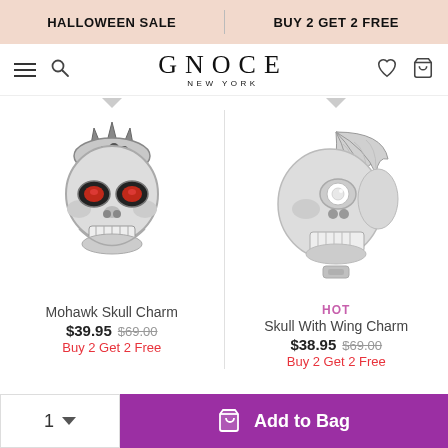HALLOWEEN SALE | BUY 2 GET 2 FREE
[Figure (logo): GNOCE NEW YORK logo with hamburger menu, search, heart, and bag icons]
[Figure (photo): Silver Mohawk Skull Charm with black crystal crown and red gemstone eyes]
[Figure (photo): Silver Skull With Wing Charm with feathered wing and white gemstone eye]
Mohawk Skull Charm
$39.95  $69.00
Buy 2 Get 2 Free
HOT
Skull With Wing Charm
$38.95  $69.00
Buy 2 Get 2 Free
1  Add to Bag